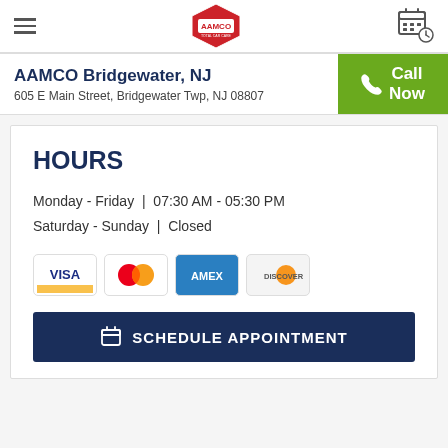AAMCO navigation bar with hamburger menu, AAMCO logo, and calendar/schedule icon
AAMCO Bridgewater, NJ
605 E Main Street, Bridgewater Twp, NJ 08807
HOURS
Monday - Friday | 07:30 AM - 05:30 PM
Saturday - Sunday | Closed
[Figure (other): Accepted payment method logos: VISA, Mastercard, AMEX, Discover]
SCHEDULE APPOINTMENT